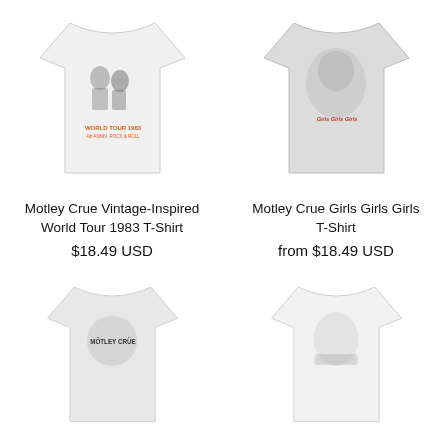[Figure (photo): Motley Crue Vintage-Inspired World Tour 1983 T-Shirt product photo — white t-shirt with band graphic]
[Figure (photo): Motley Crue Girls Girls Girls T-Shirt product photo — grey t-shirt with band graphic]
Motley Crue Vintage-Inspired World Tour 1983 T-Shirt
$18.49 USD
Motley Crue Girls Girls Girls T-Shirt
from $18.49 USD
[Figure (photo): Motley Crue Logo T-Shirt product photo — partially visible at bottom]
[Figure (photo): Motley Crue Vintage Inspired T-Shirt product photo — partially visible at bottom]
Motley Crue Logo T-Shirt
Motley Crue Vintage Inspired